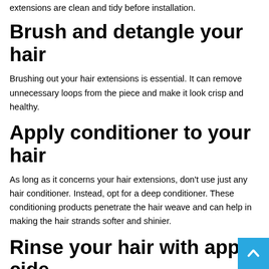extensions are clean and tidy before installation.
Brush and detangle your hair
Brushing out your hair extensions is essential. It can remove unnecessary loops from the piece and make it look crisp and healthy.
Apply conditioner to your hair
As long as it concerns your hair extensions, don't use just any hair conditioner. Instead, opt for a deep conditioner. These conditioning products penetrate the hair weave and can help in making the hair strands softer and shinier.
Rinse your hair with apple cider vinegar